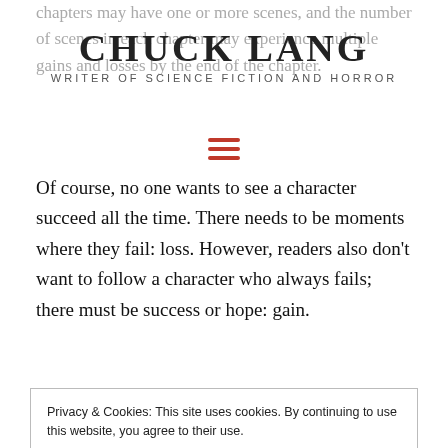chapters may have one or more scenes, and the number of scenes in each chapter may experience multiple gains and losses by the end of the chapter.
CHUCK LANG
WRITER OF SCIENCE FICTION AND HORROR
Of course, no one wants to see a character succeed all the time. There needs to be moments where they fail: loss. However, readers also don’t want to follow a character who always fails; there must be success or hope: gain.
Privacy & Cookies: This site uses cookies. By continuing to use this website, you agree to their use.
To find out more, including how to control cookies, see here:
Cookie Policy
CLOSE AND ACCEPT
Three-Act Structure: Gains & Losses